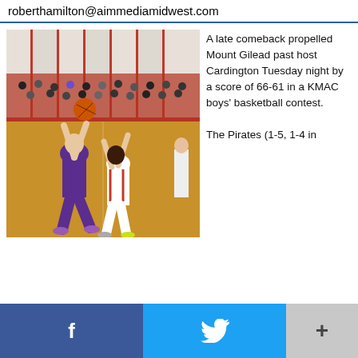roberthamilton@aimmediamidwest.com
[Figure (photo): Basketball game action photo showing a player in a purple uniform going up for a layup against defenders in a red and white uniform, in a crowded gymnasium.]
A late comeback propelled Mount Gilead past host Cardington Tuesday night by a score of 66-61 in a KMAC boys' basketball contest.

The Pirates (1-5, 1-4 in